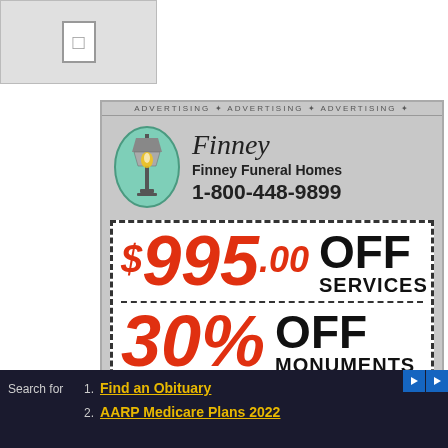[Figure (advertisement): Finney Funeral Homes advertisement with lamp logo in green oval, showing $995.00 OFF SERVICES and 30% OFF MONUMENTS coupon with dashed border]
Finney Funeral Homes
1-800-448-9899
$995.00 OFF SERVICES
30% OFF MONUMENTS
www.finneyfuneralhome.com
Search for
1. Find an Obituary
2. AARP Medicare Plans 2022